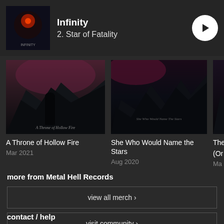Infinity
2. Star of Fatality
[Figure (photo): Album thumbnail for Infinity - dark cosmic imagery]
[Figure (photo): Album cover for A Throne of Hollow Fire - dark fantasy figure in stormy landscape]
A Throne of Hollow Fire
Mar 2021
[Figure (photo): Album cover for She Who Would Name the Stars - dark mountain landscape]
She Who Would Name the Stars
Aug 2020
[Figure (photo): Partially visible third album cover]
The
(Or
Ma
more from Metal Hell Records
view all merch >
visit community >
contact / help